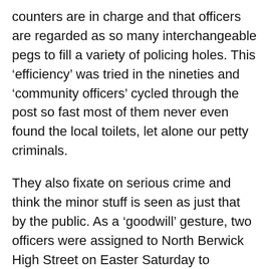counters are in charge and that officers are regarded as so many interchangeable pegs to fill a variety of policing holes. This ‘efficiency’ was tried in the nineties and ‘community officers’ cycled through the post so fast most of them never even found the local toilets, let alone our petty criminals.
They also fixate on serious crime and think the minor stuff is seen as just that by the public. As a ‘goodwill’ gesture, two officers were assigned to North Berwick High Street on Easter Saturday to compensate for the absence of traffic wardens. While they were busy timing which cars were overstatying the 90 minute limit, Marine Parade (seafront) jammed up with double-parked cars (incident #215) and the Dirleton Avenue entry into town backed up a mile while a lorry offloaded (incident #428). Both incidents were reported on i101i by 12:20. #215 never received a